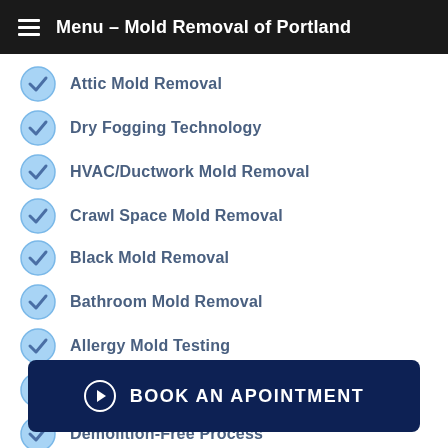Menu – Mold Removal of Portland
Attic Mold Removal
Dry Fogging Technology
HVAC/Ductwork Mold Removal
Crawl Space Mold Removal
Black Mold Removal
Bathroom Mold Removal
Allergy Mold Testing
Drywall Mold Removal
Demolition-Free Process
BOOK AN APOINTMENT